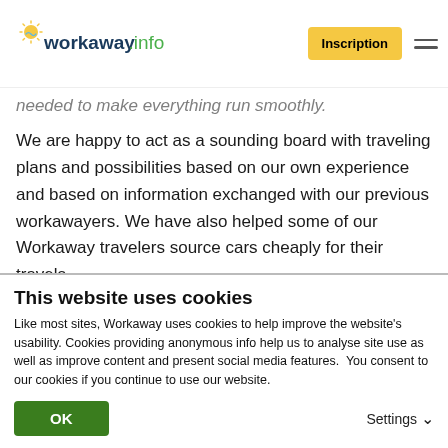[Figure (logo): workaway.info logo with sun icon]
needed to make everything run smoothly.
We are happy to act as a sounding board with traveling plans and possibilities based on our own experience and based on information exchanged with our previous workawayers. We have also helped some of our Workaway travelers source cars cheaply for their travels.
We like to start off with offering a one week stay and see how we get along beore committing to a longer
This website uses cookies
Like most sites, Workaway uses cookies to help improve the website's usability. Cookies providing anonymous info help us to analyse site use as well as improve content and present social media features.  You consent to our cookies if you continue to use our website.